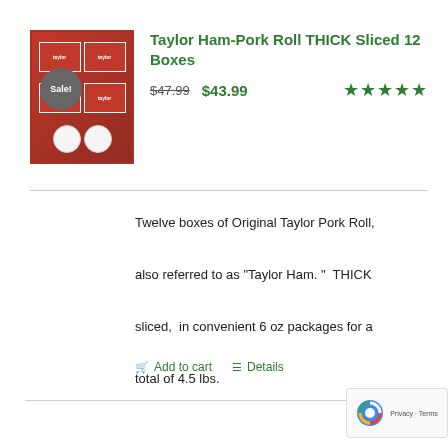[Figure (photo): Product image of Taylor Ham-Pork Roll boxes stacked, with a grey 'Sale!' badge overlay]
Taylor Ham-Pork Roll THICK Sliced 12 Boxes
$47.99  $43.99  ★★★★★
Twelve boxes of Original Taylor Pork Roll, also referred to as "Taylor Ham. "  THICK sliced,  in convenient 6 oz packages for a total of 4.5 lbs.
Add to cart   Details